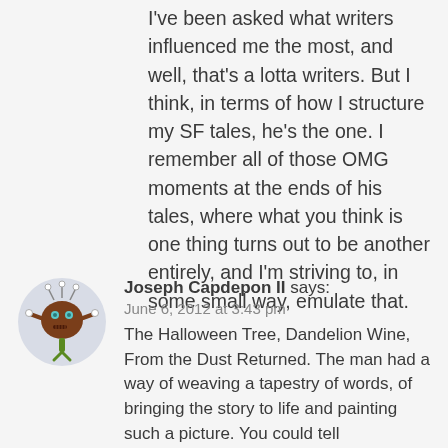I've been asked what writers influenced me the most, and well, that's a lotta writers. But I think, in terms of how I structure my SF tales, he's the one. I remember all of those OMG moments at the ends of his tales, where what you think is one thing turns out to be another entirely, and I'm striving to, in some small way, emulate that.
[Figure (illustration): Circular avatar image featuring a cartoon brown monster/creature character with antennae and teal eyes on a light grey circular background]
Joseph Capdepon II says:
June 6, 2012 at 3:43 pm
The Halloween Tree, Dandelion Wine, From the Dust Returned. The man had a way of weaving a tapestry of words, of bringing the story to life and painting such a picture. You could tell